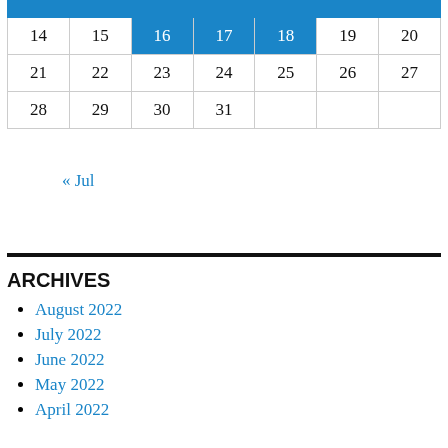| Sun | Mon | Tue | Wed | Thu | Fri | Sat |
| --- | --- | --- | --- | --- | --- | --- |
|  |  |  |  |  |  |  |
| 14 | 15 | 16 | 17 | 18 | 19 | 20 |
| 21 | 22 | 23 | 24 | 25 | 26 | 27 |
| 28 | 29 | 30 | 31 |  |  |  |
« Jul
ARCHIVES
August 2022
July 2022
June 2022
May 2022
April 2022